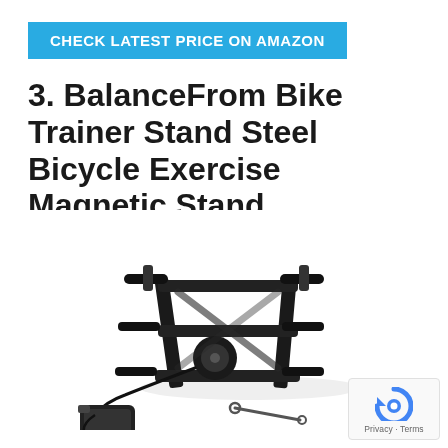CHECK LATEST PRICE ON AMAZON
3. BalanceFrom Bike Trainer Stand Steel Bicycle Exercise Magnetic Stand
[Figure (photo): BalanceFrom Bike Trainer Stand - a black steel magnetic bicycle exercise stand with resistance knob and cable, shown with accessories including a remote controller and wrench on white background]